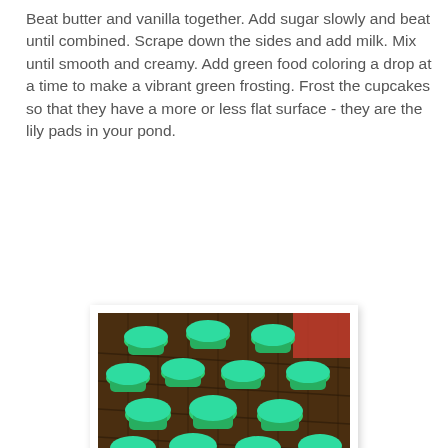Beat butter and vanilla together. Add sugar slowly and beat until combined. Scrape down the sides and add milk. Mix until smooth and creamy. Add green food coloring a drop at a time to make a vibrant green frosting. Frost the cupcakes so that they have a more or less flat surface - they are the lily pads in your pond.
[Figure (photo): Photo of approximately 18 green-frosted cupcakes in green paper liners arranged on a wire cooling rack on a wooden surface. The frosting is a bright mint/teal green color applied flat. A red container is visible in the background. A copyright watermark reads 'Copyright 2013 Renee Zeninge' in the lower right corner.]